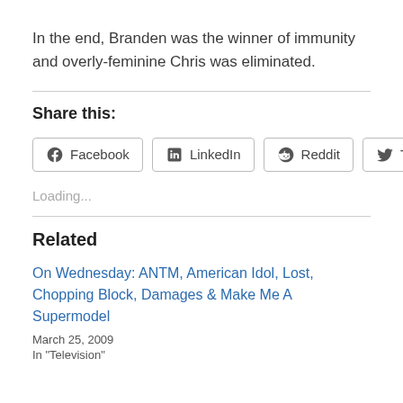In the end, Branden was the winner of immunity and overly-feminine Chris was eliminated.
Share this:
Facebook   LinkedIn   Reddit   Twitter
Loading...
Related
On Wednesday: ANTM, American Idol, Lost, Chopping Block, Damages & Make Me A Supermodel
March 25, 2009
In "Television"